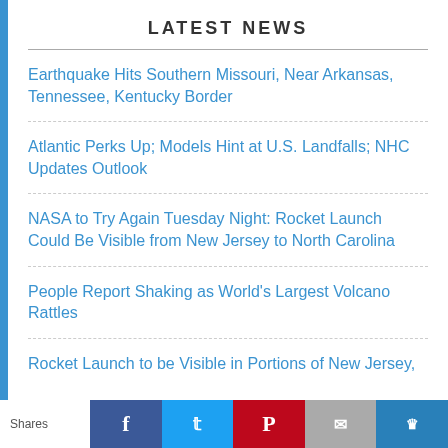LATEST NEWS
Earthquake Hits Southern Missouri, Near Arkansas, Tennessee, Kentucky Border
Atlantic Perks Up; Models Hint at U.S. Landfalls; NHC Updates Outlook
NASA to Try Again Tuesday Night: Rocket Launch Could Be Visible from New Jersey to North Carolina
People Report Shaking as World's Largest Volcano Rattles
Rocket Launch to be Visible in Portions of New Jersey, ...